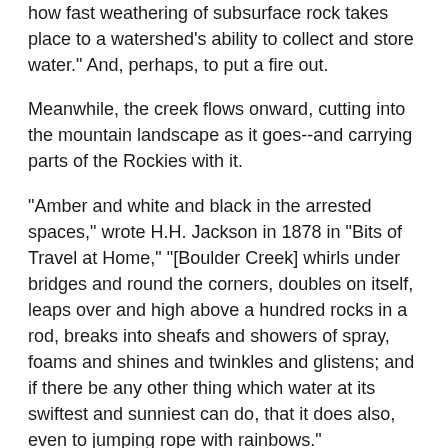how fast weathering of subsurface rock takes place to a watershed's ability to collect and store water." And, perhaps, to put a fire out.
Meanwhile, the creek flows onward, cutting into the mountain landscape as it goes--and carrying parts of the Rockies with it.
"Amber and white and black in the arrested spaces," wrote H.H. Jackson in 1878 in "Bits of Travel at Home," "[Boulder Creek] whirls under bridges and round the corners, doubles on itself, leaps over and high above a hundred rocks in a rod, breaks into sheafs and showers of spray, foams and shines and twinkles and glistens; and if there be any other thing which water at its swiftest and sunniest can do, that it does also, even to jumping rope with rainbows."
A perfect description, says Anderson, of the role of fast-flowing streams in the critical zone.